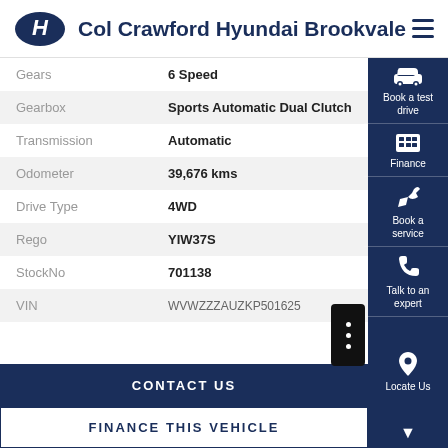Col Crawford Hyundai Brookvale
| Field | Value |
| --- | --- |
| Gears | 6 Speed |
| Gearbox | Sports Automatic Dual Clutch |
| Transmission | Automatic |
| Odometer | 39,676 kms |
| Drive Type | 4WD |
| Rego | YIW37S |
| StockNo | 701138 |
| VIN | WVWZZZAUZKP501625 |
CONTACT US
FINANCE THIS VEHICLE